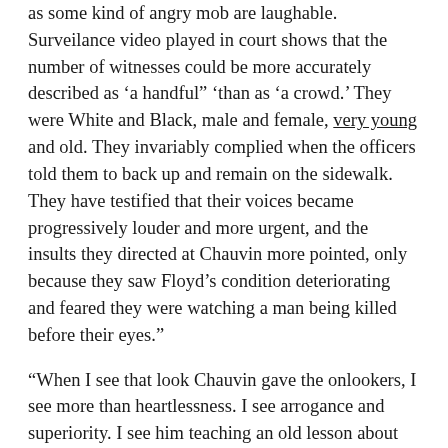as some kind of angry mob are laughable. Surveilance video played in court shows that the number of witnesses could be more accurately described as ‘a handful” ‘than as ‘a crowd.’ They were White and Black, male and female, very young and old. They invariably complied when the officers told them to back up and remain on the sidewalk. They have testified that their voices became progressively louder and more urgent, and the insults they directed at Chauvin more pointed, only because they saw Floyd’s condition deteriorating and feared they were watching a man being killed before their eyes.”
“When I see that look Chauvin gave the onlookers, I see more than heartlessness. I see arrogance and superiority. I see him teaching an old lesson about who has power and who does not, about whom the law protects and whom it doesn’t. I see Chauvin demonstrating that he, not Floyd, got to decide whether Floyd was allowed to breathe.”